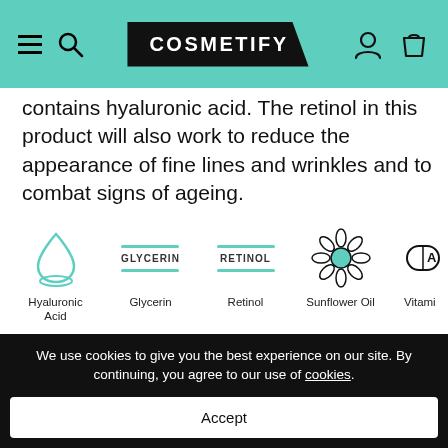COSMETIFY
contains hyaluronic acid. The retinol in this product will also work to reduce the appearance of fine lines and wrinkles and to combat signs of ageing.
[Figure (infographic): Row of ingredient icons: Hyaluronic Acid (drop icon), Glycerin (teal bars with text label), Retinol (teal bars with text label), Sunflower Oil (flower icon), Vitamin (capsule icon with A label)]
Super Facialist Says
"Wake up to smoother, healthier-looking skin with a little help from the Super Facialist Retinol Anti Ageing Night Cream. This unique anti-ageing
We use cookies to give you the best experience on our site. By continuing, you agree to our use of cookies.
Accept